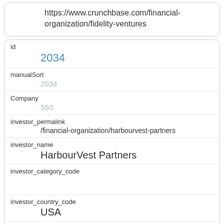https://www.crunchbase.com/financial-organization/fidelity-ventures
| id | 2034 |
| manualSort | 2034 |
| Company | 550 |
| investor_permalink | /financial-organization/harbourvest-partners |
| investor_name | HarbourVest Partners |
| investor_category_code |  |
| investor_country_code | USA |
| investor_state_code | MA |
| investor_region |  |